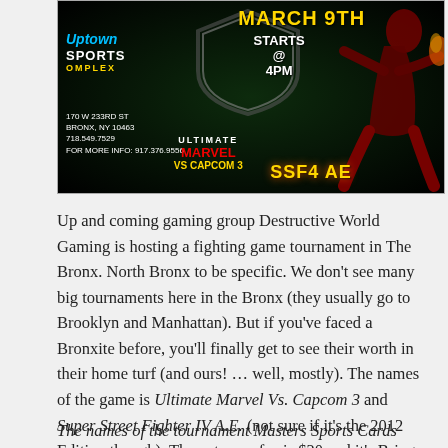[Figure (photo): Promotional banner for a fighting game tournament at Uptown Sports Complex, 170 W 233rd St, Bronx, NY 10463. Features March 9th, Starts @ 4PM, logos for Ultimate Marvel vs. Capcom 3 and Super Street Fighter IV AE, and a fighting game character silhouette.]
Up and coming gaming group Destructive World Gaming is hosting a fighting game tournament in The Bronx. North Bronx to be specific. We don't see many big tournaments here in the Bronx (they usually go to Brooklyn and Manhattan). But if you've faced a Bronxite before, you'll finally get to see their worth in their home turf (and ours! … well, mostly). The names of the game is Ultimate Marvel Vs. Capcom 3 and Super Street Fighter IV A.E. (not sure if it's the 2012 Edition though). The entrance fee is $20 and it's Bring-Your-Own-Controller/Fight Stick (though DWG will have controllers available should you need one).
The names of the tournament Masters Sports Cards